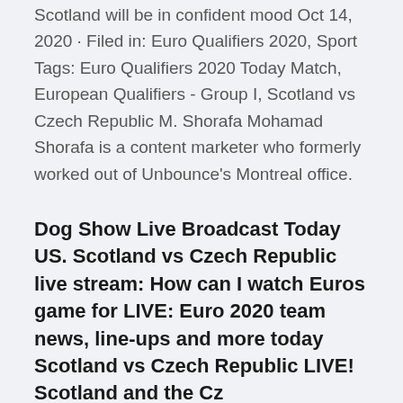Scotland will be in confident mood Oct 14, 2020 · Filed in: Euro Qualifiers 2020, Sport Tags: Euro Qualifiers 2020 Today Match, European Qualifiers - Group I, Scotland vs Czech Republic M. Shorafa Mohamad Shorafa is a content marketer who formerly worked out of Unbounce's Montreal office.
Dog Show Live Broadcast Today US. Scotland vs Czech Republic live stream: How can I watch Euros game for LIVE: Euro 2020 team news, line-ups and more today Scotland vs Czech Republic LIVE! Scotland and the Cz
Jun 11, 2021 · Euro 2020 begins on June 11, with Scotland playing Czech Republic at Hampden Park on